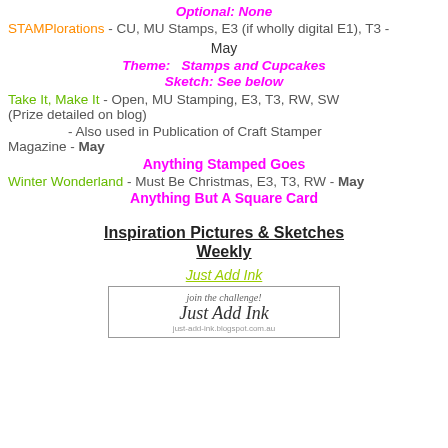Optional: None
STAMPlorations - CU, MU Stamps, E3 (if wholly digital E1), T3 -
May
Theme:   Stamps and Cupcakes
Sketch: See below
Take It, Make It - Open, MU Stamping, E3, T3, RW, SW (Prize detailed on blog)
- Also used in Publication of Craft Stamper Magazine - May
Anything Stamped Goes
Winter Wonderland - Must Be Christmas, E3, T3, RW - May
Anything But A Square Card
Inspiration Pictures & Sketches Weekly
Just Add Ink
[Figure (screenshot): Just Add Ink challenge blog logo with 'join the challenge!' text]